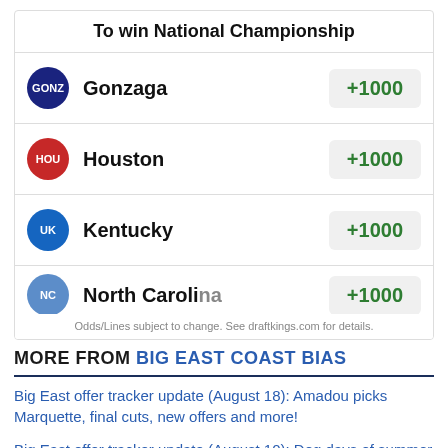To win National Championship
Gonzaga +1000
Houston +1000
Kentucky +1000
North Carolina +1000 (partially visible)
Odds/Lines subject to change. See draftkings.com for details.
MORE FROM BIG EAST COAST BIAS
Big East offer tracker update (August 18): Amadou picks Marquette, final cuts, new offers and more!
Big East offer tracker update (August 10): Dog days of summer recruiting
Transfer Profile: Bryson Mozone